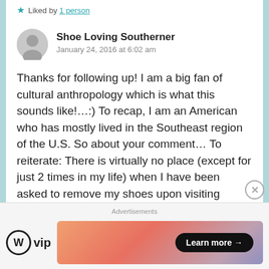★ Liked by 1 person
Shoe Loving Southerner
January 24, 2016 at 6:02 am
Thanks for following up! I am a big fan of cultural anthropology which is what this sounds like!…:) To recap, I am an American who has mostly lived in the Southeast region of the U.S. So about your comment… To reiterate: There is virtually no place (except for just 2 times in my life) when I have been asked to remove my shoes upon visiting someone's home. Even for a casual visit, I (as well as any of my friends that
Advertisements
[Figure (logo): WordPress VIP logo]
[Figure (infographic): Advertisement banner with orange-pink gradient background and 'Learn more →' button]